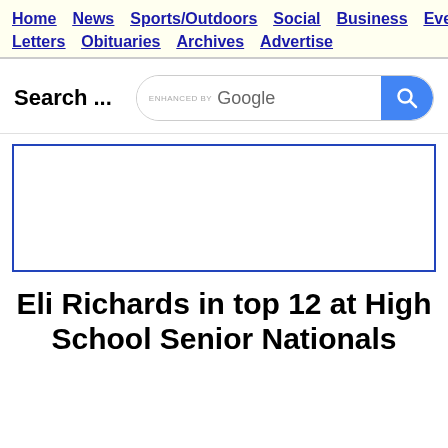Home  News  Sports/Outdoors  Social  Business  Events  Letters  Obituaries  Archives  Advertise
Search ...
[Figure (other): Google search box with 'ENHANCED BY Google' text and blue search button with magnifying glass icon]
[Figure (other): Empty advertisement box with dark blue border]
Eli Richards in top 12 at High School Senior Nationals